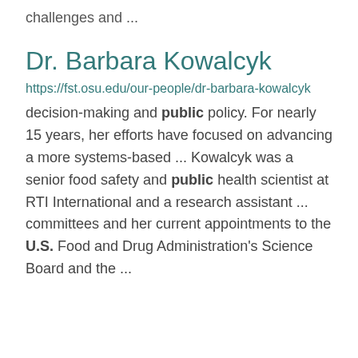challenges and ...
Dr. Barbara Kowalcyk
https://fst.osu.edu/our-people/dr-barbara-kowalcyk
decision-making and public policy. For nearly 15 years, her efforts have focused on advancing a more systems-based ... Kowalcyk was a senior food safety and public health scientist at RTI International and a research assistant ... committees and her current appointments to the U.S. Food and Drug Administration's Science Board and the ...